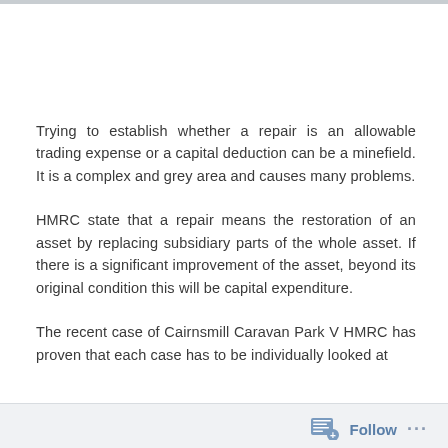Trying to establish whether a repair is an allowable trading expense or a capital deduction can be a minefield. It is a complex and grey area and causes many problems.
HMRC state that a repair means the restoration of an asset by replacing subsidiary parts of the whole asset. If there is a significant improvement of the asset, beyond its original condition this will be capital expenditure.
The recent case of Cairnsmill Caravan Park V HMRC has proven that each case has to be individually looked at
Follow ...